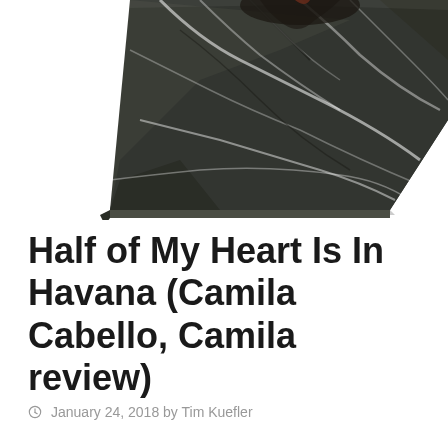[Figure (photo): Partial view of a dark green marble sculpture or pedestal with white veining, photographed from an angled overhead perspective on a white background.]
Half of My Heart Is In Havana (Camila Cabello, Camila review)
January 24, 2018 by Tim Kuefler